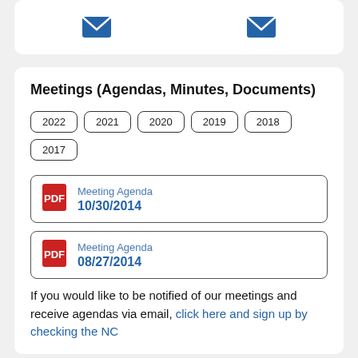[Figure (illustration): Two email envelope icons displayed side by side in a white card area at the top]
Meetings (Agendas, Minutes, Documents)
2022
2021
2020
2019
2018
2017
Meeting Agenda
10/30/2014
Meeting Agenda
08/27/2014
If you would like to be notified of our meetings and receive agendas via email, click here and sign up by checking the NC